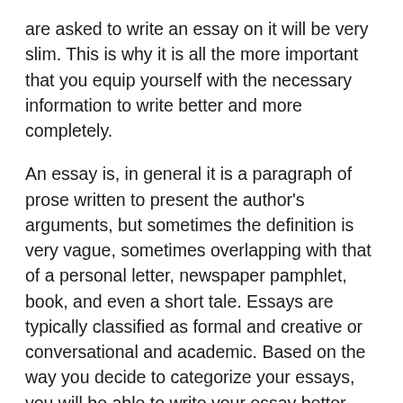are asked to write an essay on it will be very slim. This is why it is all the more important that you equip yourself with the necessary information to write better and more completely.
An essay is, in general it is a paragraph of prose written to present the author's arguments, but sometimes the definition is very vague, sometimes overlapping with that of a personal letter, newspaper pamphlet, book, and even a short tale. Essays are typically classified as formal and creative or conversational and academic. Based on the way you decide to categorize your essays, you will be able to write your essay better. There are two main types of essays: the descriptive and the analytical essay. The former can be categorized into analytical and persuasive, while the latter can be classified into expository and descriptive.
Analytical essays are written on a particular topic. They are usually short and concise and can be written on a specific subject. These essays don't usually include elaborate